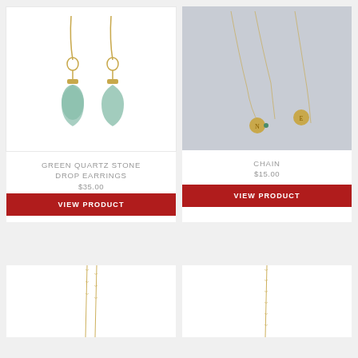[Figure (photo): Photo of green quartz stone drop earrings on white background — two gold wire earrings with green teardrop gemstone pendants]
GREEN QUARTZ STONE DROP EARRINGS
$35.00
VIEW PRODUCT
[Figure (photo): Photo of gold chain necklaces with initial charm pendants on grey background]
CHAIN
$15.00
VIEW PRODUCT
[Figure (photo): Bottom left partial photo of a gold chain necklace on white background]
[Figure (photo): Bottom right partial photo of a gold chain necklace on white background]